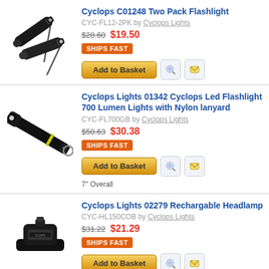[Figure (photo): Two black Cyclops flashlights with wrist lanyard]
Cyclops C01248 Two Pack Flashlight
CYC-FL12-2PK by Cyclops Lights
$28.60  $19.50
SHIPS FAST
[Figure (photo): Black Cyclops LED flashlight with nylon lanyard keychain]
Cyclops Lights 01342 Cyclops Led Flashlight 700 Lumen Lights with Nylon lanyard
CYC-FL700GB by Cyclops Lights
$50.63  $30.38
SHIPS FAST
7" Overall
[Figure (photo): Black Cyclops rechargeable headlamp]
Cyclops Lights 02279 Rechargable Headlamp
CYC-HL150COB by Cyclops Lights
$31.22  $21.29
SHIPS FAST